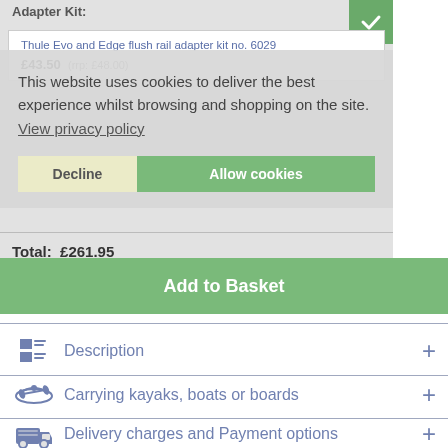Adapter Kit:
Thule Evo and Edge flush rail adapter kit no. 6029
£43.50  (rrp: £48.00)
This website uses cookies to deliver the best experience whilst browsing and shopping on the site.  View privacy policy
Total:  £261.95
Add to Basket
Decline
Allow cookies
Description
Carrying kayaks, boats or boards
Delivery charges and Payment options
Our unique FREE Thule lock matching service